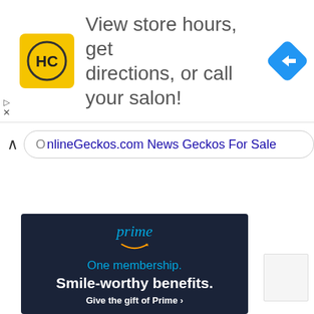[Figure (screenshot): Top advertisement banner for a hair salon with HC logo (yellow square with HC text), ad text 'View store hours, get directions, or call your salon!', and a blue diamond navigation arrow icon on the right. Ad controls (play and close) visible on left edge.]
OnlineGeckos.com News Geckos For Sale
[Figure (screenshot): Amazon Prime advertisement on dark navy background. Shows 'prime' text in blue italic with Amazon smile arrow below it, then 'One membership.' in blue, 'Smile-worthy benefits.' in white bold, and 'Give the gift of Prime ▸' in white bold smaller text.]